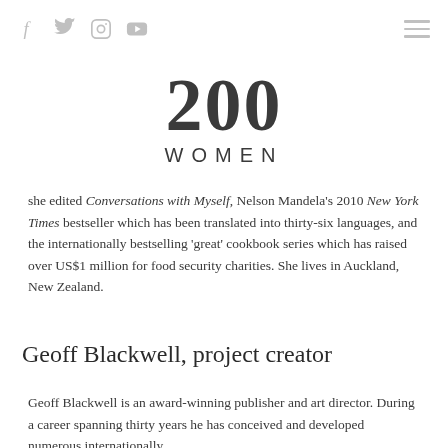Social icons (f, Twitter, Instagram, YouTube) and hamburger menu
200 WOMEN
she edited Conversations with Myself, Nelson Mandela's 2010 New York Times bestseller which has been translated into thirty-six languages, and the internationally bestselling 'great' cookbook series which has raised over US$1 million for food security charities. She lives in Auckland, New Zealand.
Geoff Blackwell, project creator
Geoff Blackwell is an award-winning publisher and art director. During a career spanning thirty years he has conceived and developed numerous internationally